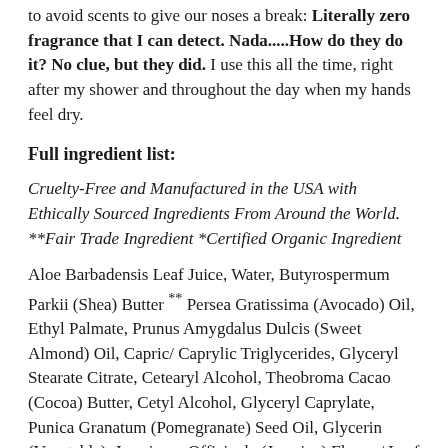to avoid scents to give our noses a break: Literally zero fragrance that I can detect. Nada.....How do they do it? No clue, but they did. I use this all the time, right after my shower and throughout the day when my hands feel dry.
Full ingredient list:
Cruelty-Free and Manufactured in the USA with Ethically Sourced Ingredients From Around the World. **Fair Trade Ingredient *Certified Organic Ingredient
Aloe Barbadensis Leaf Juice, Water, Butyrospermum Parkii (Shea) Butter ** Persea Gratissima (Avocado) Oil, Ethyl Palmate, Prunus Amygdalus Dulcis (Sweet Almond) Oil, Capric/ Caprylic Triglycerides, Glyceryl Stearate Citrate, Cetearyl Alcohol, Theobroma Cacao (Cocoa) Butter, Cetyl Alcohol, Glyceryl Caprylate, Punica Granatum (Pomegranate) Seed Oil, Glycerin (Vegetable), Jasminum Officinale (Jasmine) Flower/ Leaf Extract, Chamomilla,